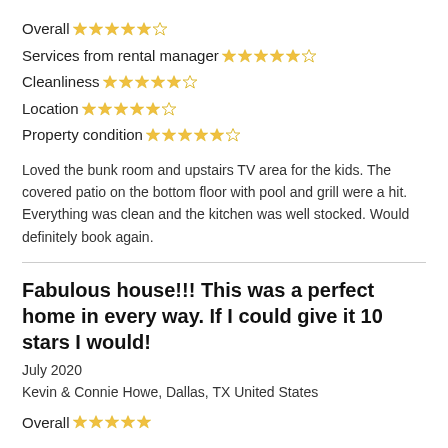Overall ★★★★★
Services from rental manager ★★★★★
Cleanliness ★★★★★
Location ★★★★★
Property condition ★★★★★
Loved the bunk room and upstairs TV area for the kids. The covered patio on the bottom floor with pool and grill were a hit. Everything was clean and the kitchen was well stocked. Would definitely book again.
Fabulous house!!! This was a perfect home in every way. If I could give it 10 stars I would!
July 2020
Kevin & Connie Howe, Dallas, TX United States
Overall ★★★★★